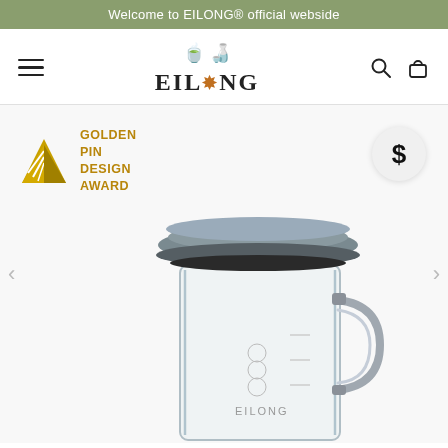Welcome to EILONG® official webside
[Figure (logo): EILONG brand logo with teaware icons above and stylized flower in the brand name]
[Figure (logo): Golden Pin Design Award logo badge]
GOLDEN PIN DESIGN AWARD
$
[Figure (photo): Close-up photo of a glass water pitcher/carafe with a stainless steel lid and handle, showing the EILONG brand mark on the glass body]